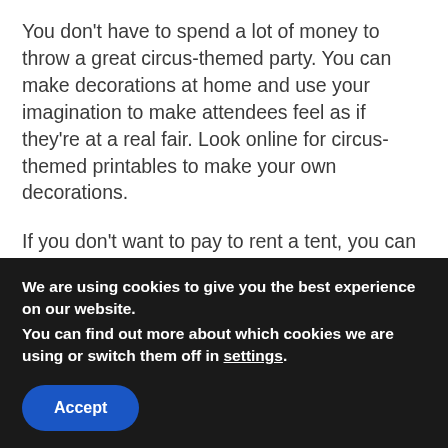You don't have to spend a lot of money to throw a great circus-themed party. You can make decorations at home and use your imagination to make attendees feel as if they're at a real fair. Look online for circus-themed printables to make your own decorations.
If you don't want to pay to rent a tent, you can create your own by draping white fabric or a white sheet over a pole or a huge post. To bring the big top within, you can make a streamer canopy. Make a circus party backdrop instead for a quick alternative.
We are using cookies to give you the best experience on our website.
You can find out more about which cookies we are using or switch them off in settings.